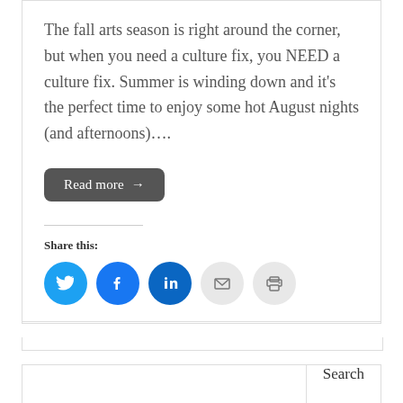The fall arts season is right around the corner, but when you need a culture fix, you NEED a culture fix. Summer is winding down and it’s the perfect time to enjoy some hot August nights (and afternoons)….
Read more →
Share this:
[Figure (other): Social share icons: Twitter, Facebook, LinkedIn, Email, Print]
Search